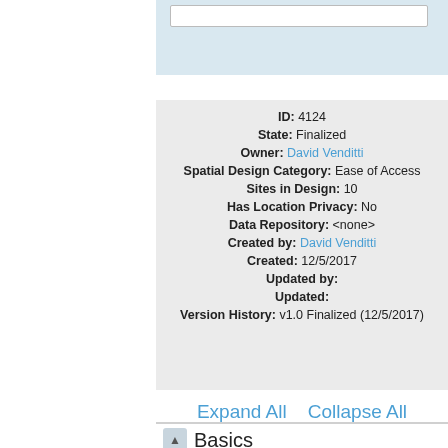ID: 4124
State: Finalized
Owner: David Venditti
Spatial Design Category: Ease of Access
Sites in Design: 10
Has Location Privacy: No
Data Repository: <none>
Created by: David Venditti
Created: 12/5/2017
Updated by:
Updated:
Version History: v1.0 Finalized (12/5/2017)
Expand All   Collapse All
Basics